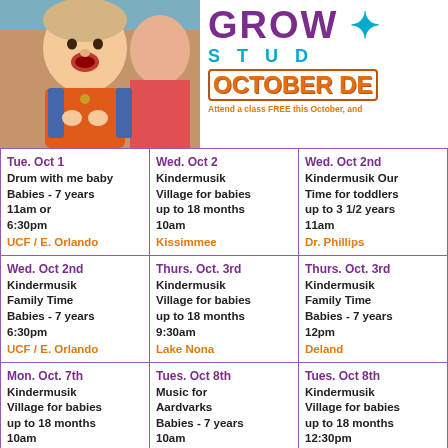[Figure (photo): Photo of a young toddler with mouth open, wearing an orange shirt and denim vest, appearing to sing or laugh]
GROW STUDIO - OCTOBER DEMO - Attend a class FREE this October, and...
|  |  |  |
| --- | --- | --- |
| Tue. Oct 1
Drum with me baby
Babies - 7 years
11am or
6:30pm
UCF / E. Orlando | Wed. Oct 2
Kindermusik Village for babies up to 18 months
10am
Kissimmee | Wed. Oct 2nd
Kindermusik Our Time for toddlers up to 3 1/2 years
11am
Dr. Phillips |
| Wed. Oct 2nd
Kindermusik Family Time
Babies - 7 years
6:30pm
UCF / E. Orlando | Thurs. Oct. 3rd
Kindermusik Village for babies up to 18 months
9:30am
Lake Nona | Thurs. Oct. 3rd
Kindermusik Family Time
Babies - 7 years
12pm
Deland |
| Mon. Oct. 7th
Kindermusik Village for babies up to 18 months
10am | Tues. Oct 8th
Music for Aardvarks
Babies - 7 years
10am | Tues. Oct 8th
Kindermusik Village for babies up to 18 months
12:30pm |